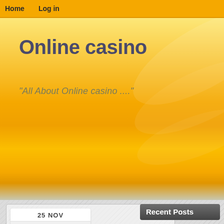Home   Log in
Online casino
"All About Online casino ...."
25 NOV
15
Recent Posts
Canadian Casinos
Net Casino Sucker Wagers — Part I